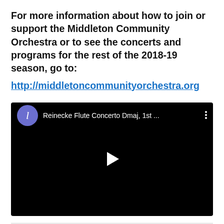For more information about how to join or support the Middleton Community Orchestra or to see the concerts and programs for the rest of the 2018-19 season, go to:
http://middletoncommunityorchestra.org
[Figure (screenshot): Embedded YouTube video thumbnail showing 'Reinecke Flute Concerto Dmaj, 1st ...' with a play button in the center, a purple avatar with letter 'l' and three-dot menu icon in the top bar.]
Share this: